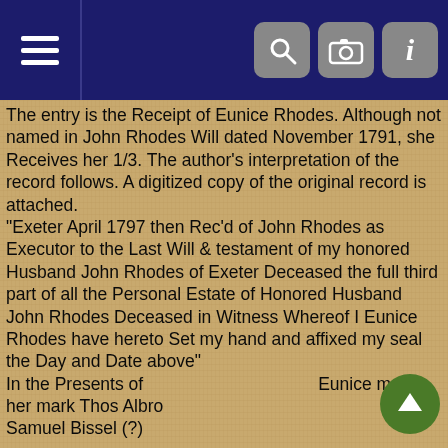Navigation header with hamburger menu and toolbar icons (search, camera, info)
The entry is the Receipt of Eunice Rhodes. Although not named in John Rhodes Will dated November 1791, she Receives her 1/3. The author's interpretation of the record follows. A digitized copy of the original record is attached. "Exeter April 1797 then Rec'd of John Rhodes as Executor to the Last Will & testament of my honored Husband John Rhodes of Exeter Deceased the full third part of all the Personal Estate of Honored Husband John Rhodes Deceased in Witness Whereof I Eunice Rhodes have hereto Set my hand and affixed my seal the Day and Date above" In the Presents of                                    Eunice made her mark Thos Albro Samuel Bissel (?)
Book 7:32 Guardianship for Eunice Rhodes
"Be it known and manifest that on the 7th day ofApril, 1803, Jonathan Lillibridge of Exeter in the County of Washington and state aforesaid Yeoman was in and by the Court of Probate of the Town of Exeter in the County of Washing & State aforesaid appointed Guardian to Eunice Rhodes of Exeter widow to John Rhodes Late of Exeter deceased and to her Estate and Impowered to act and do all